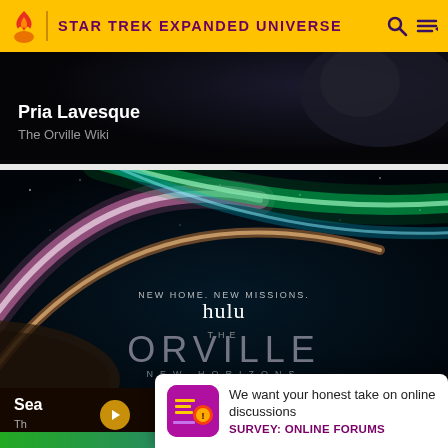STAR TREK EXPANDED UNIVERSE
Pria Lavesque
The Orville Wiki
[Figure (screenshot): The Orville: New Horizons promotional image on Hulu. Text reads: NEW HOME. NEW MISSIONS. hulu THE ORVILLE NEW HORIZONS ORIGINAL SERIES]
Sea...
We want your honest take on online discussions
SURVEY: ONLINE FORUMS